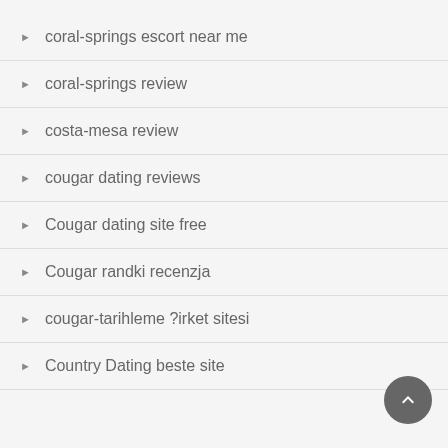coral-springs escort near me
coral-springs review
costa-mesa review
cougar dating reviews
Cougar dating site free
Cougar randki recenzja
cougar-tarihleme ?irket sitesi
Country Dating beste site